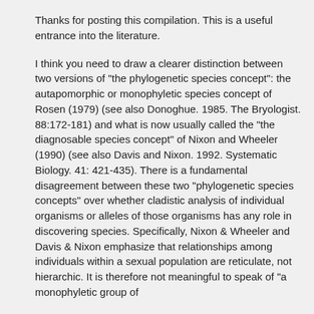Thanks for posting this compilation. This is a useful entrance into the literature.
I think you need to draw a clearer distinction between two versions of "the phylogenetic species concept": the autapomorphic or monophyletic species concept of Rosen (1979) (see also Donoghue. 1985. The Bryologist. 88:172-181) and what is now usually called the "the diagnosable species concept" of Nixon and Wheeler (1990) (see also Davis and Nixon. 1992. Systematic Biology. 41: 421-435). There is a fundamental disagreement between these two "phylogenetic species concepts" over whether cladistic analysis of individual organisms or alleles of those organisms has any role in discovering species. Specifically, Nixon & Wheeler and Davis & Nixon emphasize that relationships among individuals within a sexual population are reticulate, not hierarchic. It is therefore not meaningful to speak of "a monophyletic group of